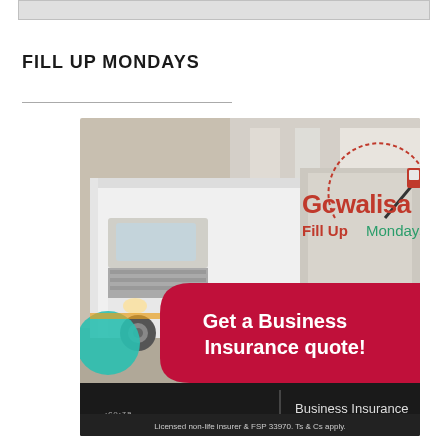FILL UP MONDAYS
[Figure (illustration): MiWay Business Insurance advertisement showing a white delivery truck at a loading dock with 'Gcwalisa Fill Up Mondays' branding and 'Get a Business Insurance quote!' text on a red banner, with MiWay.co.za logo and 'Business Insurance' tagline at the bottom. Fine print reads: Licensed non-life insurer & FSP 33970. Ts & Cs apply.]